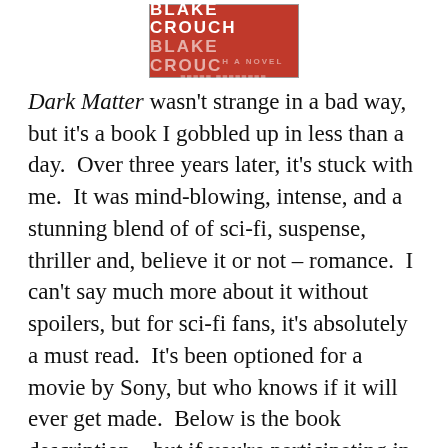[Figure (illustration): Book cover image showing 'Blake Crouch' text on a red background, with repeated/reflected text below]
Dark Matter wasn't strange in a bad way, but it's a book I gobbled up in less than a day.  Over three years later, it's stuck with me.  It was mind-blowing, intense, and a stunning blend of of sci-fi, suspense, thriller and, believe it or not – romance.  I can't say much more about it without spoilers, but for sci-fi fans, it's absolutely a must read.  It's been optioned for a movie by Sony, but who knows if it will ever get made.  Below is the book description – but if you're participating in NaNo, don't even try reading it this month.  You'll never meet your goal!
Jason Dessen is walking home through the chilly